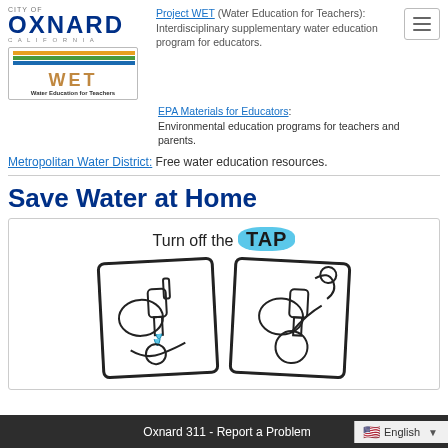City of Oxnard / Project WET logo area
Project WET (Water Education for Teachers): Interdisciplinary supplementary water education program for educators.
EPA Materials for Educators. Environmental education programs for teachers and parents.
Metropolitan Water District: Free water education resources.
Save Water at Home
[Figure (illustration): Turn off the TAP illustration showing two side-by-side framed drawings of a person washing hands at a faucet — one with water running, one with water off.]
Oxnard 311 - Report a Problem
English